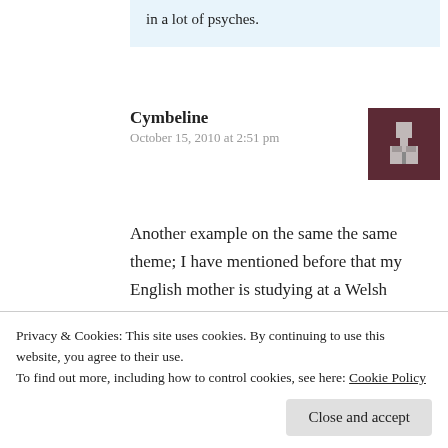in a lot of psyches.
Cymbeline
October 15, 2010 at 2:51 pm
[Figure (illustration): Pixel art avatar icon showing a stylized figure on a dark maroon background]
Another example on the same the same theme; I have mentioned before that my English mother is studying at a Welsh University for a degree in Welsh. One of the academics running the course is an American with no Welsh roots at all. He fell in love with the
Privacy & Cookies: This site uses cookies. By continuing to use this website, you agree to their use.
To find out more, including how to control cookies, see here: Cookie Policy
Close and accept